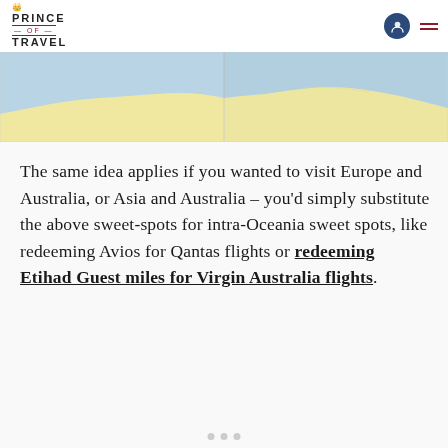PRINCE OF TRAVEL
[Figure (map): Partial map showing Australia in yellow/cream color against a light blue background, cropped to show northern Australia coastline.]
The same idea applies if you wanted to visit Europe and Australia, or Asia and Australia – you'd simply substitute the above sweet-spots for intra-Oceania sweet spots, like redeeming Avios for Qantas flights or redeeming Etihad Guest miles for Virgin Australia flights.